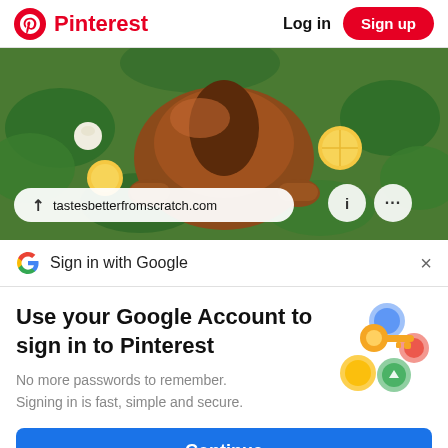Pinterest   Log in   Sign up
[Figure (photo): Food photo showing a roasted turkey/chicken with green vegetables, lemon slices and garlic on a baking tray, with URL bar overlay showing tastesbetterfromscratch.com and info/more icons]
Sign in with Google
Use your Google Account to sign in to Pinterest
No more passwords to remember. Signing in is fast, simple and secure.
[Figure (illustration): Google keys illustration: golden key with colorful circular icons (blue, green, red, yellow)]
Continue